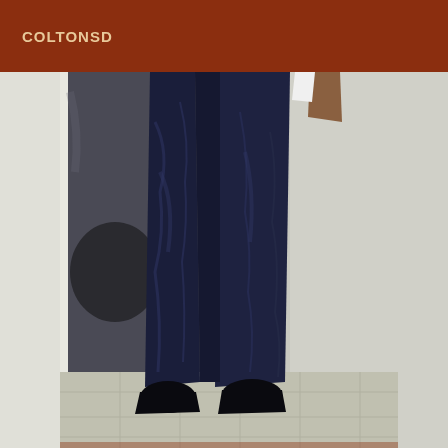COLTONSD
[Figure (photo): Photo of a person from torso down wearing dark navy blue jeans and dark shoes, standing in front of a glass door/window with a tiled floor visible. The person's right hand is partially visible at the top right. Background shows a dark interior through the glass on the left and a light gray wall on the right.]